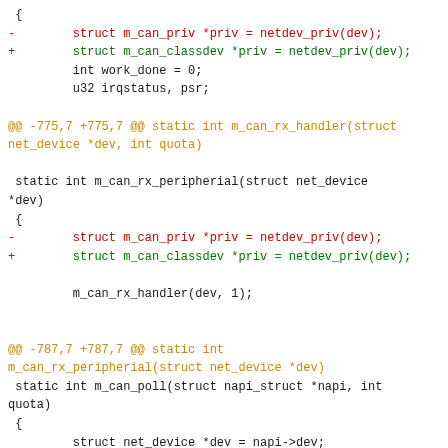[Figure (screenshot): Code diff showing changes to m_can driver files, replacing m_can_priv with m_can_classdev struct pointer type across multiple functions including m_can_rx_handler, m_can_rx_peripherial, and m_can_poll.]